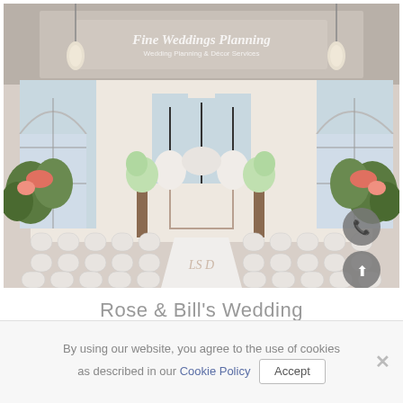[Figure (photo): Interior of an elegant wedding chapel with white chairs arranged in rows along a central aisle, tall arched Gothic windows, lush floral arrangements and greenery, a floral arch at the altar, pendant lights, and a coffered ceiling. A white aisle runner with a monogram is visible.]
Rose & Bill's Wedding
By using our website, you agree to the use of cookies as described in our Cookie Policy